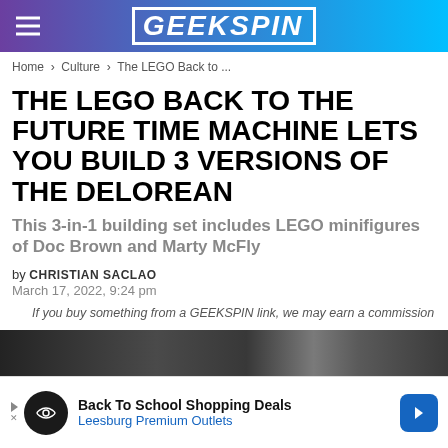GEEKSPIN
Home › Culture › The LEGO Back to ...
THE LEGO BACK TO THE FUTURE TIME MACHINE LETS YOU BUILD 3 VERSIONS OF THE DELOREAN
This 3-in-1 building set includes LEGO minifigures of Doc Brown and Marty McFly
by CHRISTIAN SACLAO
March 17, 2022, 9:24 pm
If you buy something from a GEEKSPIN link, we may earn a commission
[Figure (photo): Dark background image, partially visible, showing LEGO Back to the Future Time Machine]
Back To School Shopping Deals
Leesburg Premium Outlets